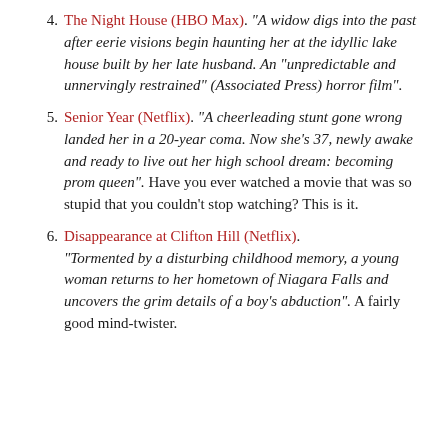4. The Night House (HBO Max). "A widow digs into the past after eerie visions begin haunting her at the idyllic lake house built by her late husband. An "unpredictable and unnervingly restrained" (Associated Press) horror film".
5. Senior Year (Netflix). "A cheerleading stunt gone wrong landed her in a 20-year coma. Now she's 37, newly awake and ready to live out her high school dream: becoming prom queen". Have you ever watched a movie that was so stupid that you couldn't stop watching? This is it.
6. Disappearance at Clifton Hill (Netflix). "Tormented by a disturbing childhood memory, a young woman returns to her hometown of Niagara Falls and uncovers the grim details of a boy's abduction". A fairly good mind-twister.